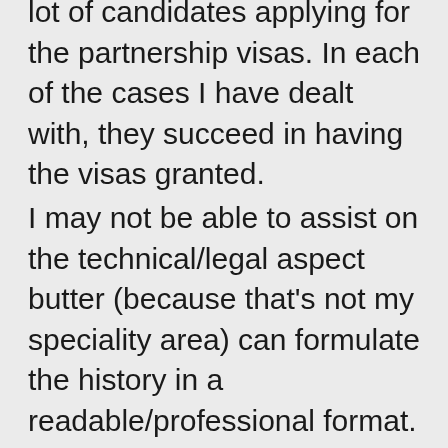lot of candidates applying for the partnership visas. In each of the cases I have dealt with, they succeed in having the visas granted.
I may not be able to assist on the technical/legal aspect butter (because that's not my speciality area) can formulate the history in a readable/professional format.
Please do not hesitate to contact me for further details if there is a need.
Let me also take this opportunity to wish you the best.